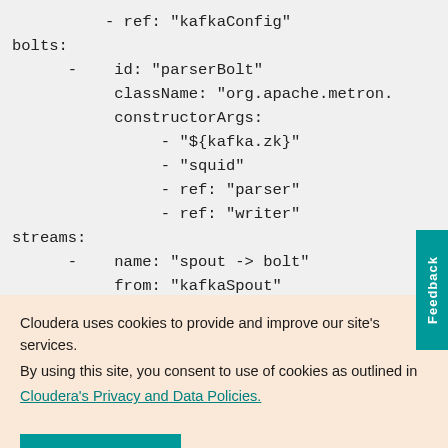- ref: "kafkaConfig"
bolts:
    -    id: "parserBolt"
         className: "org.apache.metron.
         constructorArgs:
              - "${kafka.zk}"
              - "squid"
              - ref: "parser"
              - ref: "writer"
streams:
    -    name: "spout -> bolt"
         from: "kafkaSpout"
Cloudera uses cookies to provide and improve our site's services. By using this site, you consent to use of cookies as outlined in Cloudera's Privacy and Data Policies.
Accept Cookies